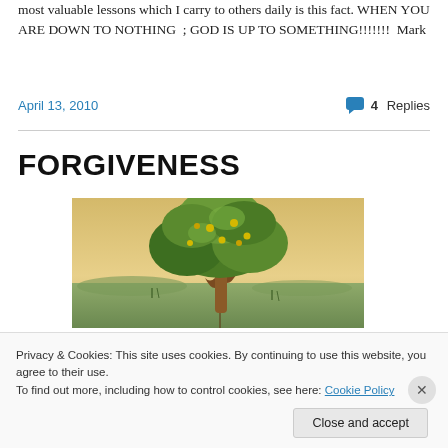most valuable lessons which I carry to others daily is this fact. WHEN YOU ARE DOWN TO NOTHING ; GOD IS UP TO SOMETHING!!!!!!!  Mark
April 13, 2010
4 Replies
FORGIVENESS
[Figure (illustration): Painting of a large leafy green tree with a thick brown trunk, set against a golden-sky landscape background]
Privacy & Cookies: This site uses cookies. By continuing to use this website, you agree to their use.
To find out more, including how to control cookies, see here: Cookie Policy
Close and accept